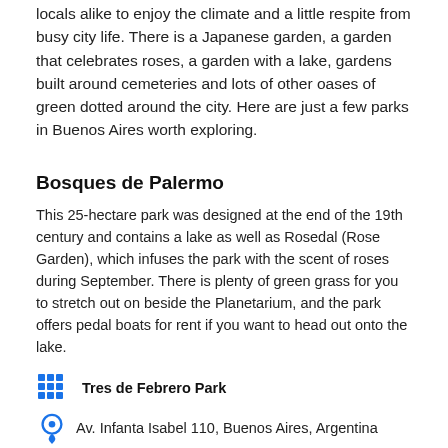locals alike to enjoy the climate and a little respite from busy city life. There is a Japanese garden, a garden that celebrates roses, a garden with a lake, gardens built around cemeteries and lots of other oases of green dotted around the city. Here are just a few parks in Buenos Aires worth exploring.
Bosques de Palermo
This 25-hectare park was designed at the end of the 19th century and contains a lake as well as Rosedal (Rose Garden), which infuses the park with the scent of roses during September. There is plenty of green grass for you to stretch out on beside the Planetarium, and the park offers pedal boats for rent if you want to head out onto the lake.
Tres de Febrero Park
Av. Infanta Isabel 110, Buenos Aires, Argentina
Open 24 hours